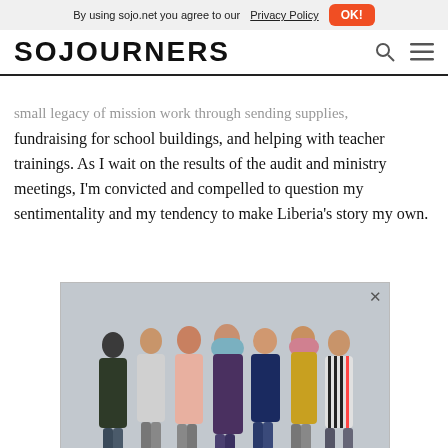By using sojo.net you agree to our Privacy Policy  OK!
SOJOURNERS
small legacy of mission work through sending supplies, fundraising for school buildings, and helping with teacher trainings. As I wait on the results of the audit and ministry meetings, I'm convicted and compelled to question my sentimentality and my tendency to make Liberia's story my own.
[Figure (photo): Group of diverse women hugging and laughing together in a chain, posed against a gray wall. Below the photo is a red-orange banner reading NETWORK CALL: FAITH, FASHION, AND GENDER JUSTICE with text 'First Friday of every month at 12 p.m. ET' and a Sign Up button.]